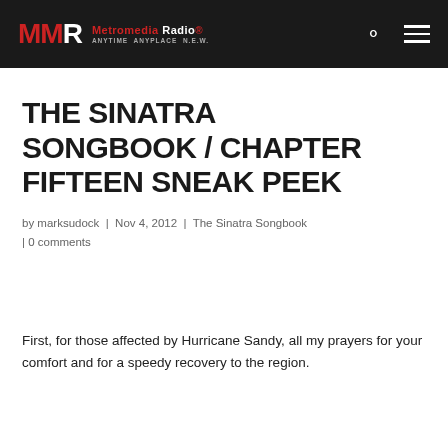MMR Metromedia Radio® ANYTIME ANYPLACE N.E.W.
THE SINATRA SONGBOOK / CHAPTER FIFTEEN SNEAK PEEK
by marksudock | Nov 4, 2012 | The Sinatra Songbook | 0 comments
First, for those affected by Hurricane Sandy, all my prayers for your comfort and for a speedy recovery to the region.